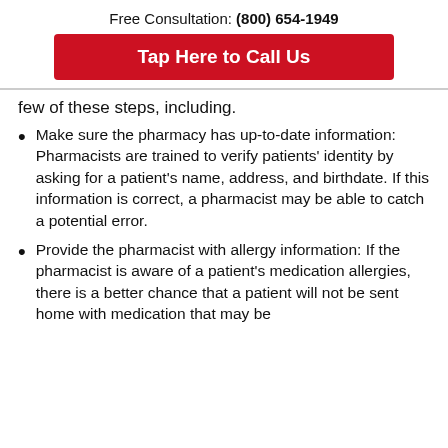Free Consultation: (800) 654-1949
Tap Here to Call Us
few of these steps, including.
Make sure the pharmacy has up-to-date information: Pharmacists are trained to verify patients' identity by asking for a patient's name, address, and birthdate. If this information is correct, a pharmacist may be able to catch a potential error.
Provide the pharmacist with allergy information: If the pharmacist is aware of a patient's medication allergies, there is a better chance that a patient will not be sent home with medication that may be